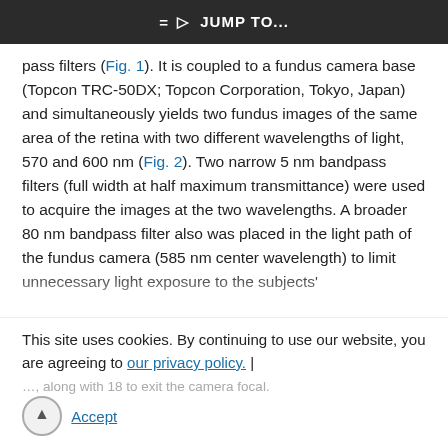JUMP TO...
pass filters (Fig. 1). It is coupled to a fundus camera base (Topcon TRC-50DX; Topcon Corporation, Tokyo, Japan) and simultaneously yields two fundus images of the same area of the retina with two different wavelengths of light, 570 and 600 nm (Fig. 2). Two narrow 5 nm bandpass filters (full width at half maximum transmittance) were used to acquire the images at the two wavelengths. A broader 80 nm bandpass filter also was placed in the light path of the fundus camera (585 nm center wavelength) to limit unnecessary light exposure to the subjects' eyes, along with 18 to exit the camera focal...
This site uses cookies. By continuing to use our website, you are agreeing to our privacy policy. Accept